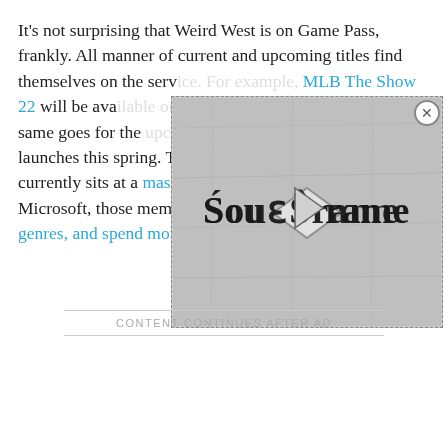It's not surprising that Weird West is on Game Pass, frankly. All manner of current and upcoming titles find themselves on the service. For example, MLB The Show 22 will be available on Game Pass on April 5, and the same goes for the Trek to Yomi when it launches this spring. The Game Pass subscriber count currently sits at a massive 25 million, and according to Microsoft, those members play more games, try more genres, and spend more money.
[Figure (screenshot): An advertisement overlay showing a logo with the text 'Soulframe' in a gothic/blackletter style font on a grayish stone-textured background, with a close button (X in a circle) in the top right corner.]
CONTENT CONTINUES AFTER AD